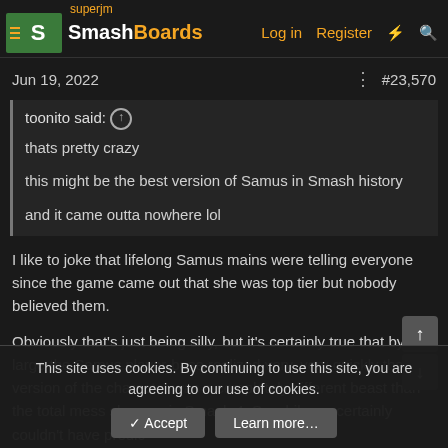superjm | SmashBoards | Log in | Register
Jun 19, 2022   #23,570
toonito said: ↑
thats pretty crazy

this might be the best version of Samus in Smash history

and it came outta nowhere lol
I like to joke that lifelong Samus mains were telling everyone since the game came out that she was top tier but nobody believed them.
Obviously that's just being silly, but it's certainly true that by and large the Samus player-base realized very, very quickly that this version of the character was a completely different beast than the total mess she was in Smash 4. So while we certainly couldn't have predic...
This site uses cookies. By continuing to use this site, you are agreeing to our use of cookies.